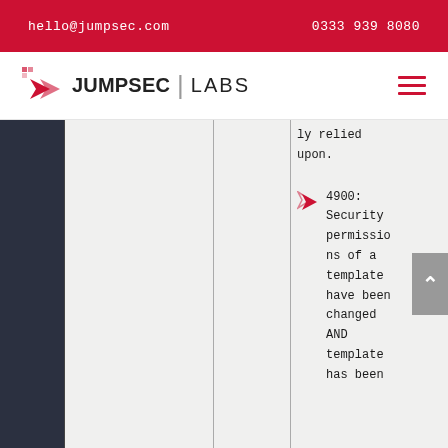hello@jumpsec.com   0333 939 8080
[Figure (logo): JumpSec Labs logo with red arrow icon and navigation hamburger menu]
ly relied upon.
4900: Security permissions of a template have been changed AND template has been